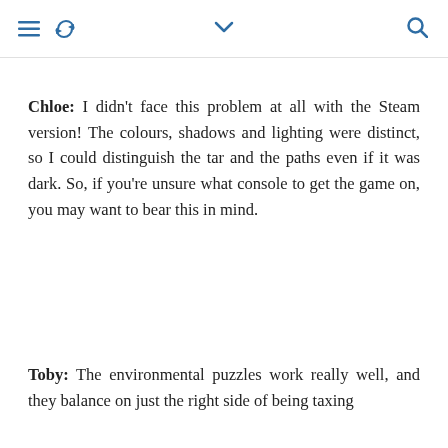≡ ↺  ∨  🔍
Chloe: I didn't face this problem at all with the Steam version! The colours, shadows and lighting were distinct, so I could distinguish the tar and the paths even if it was dark. So, if you're unsure what console to get the game on, you may want to bear this in mind.
Toby: The environmental puzzles work really well, and they balance on just the right side of being taxing